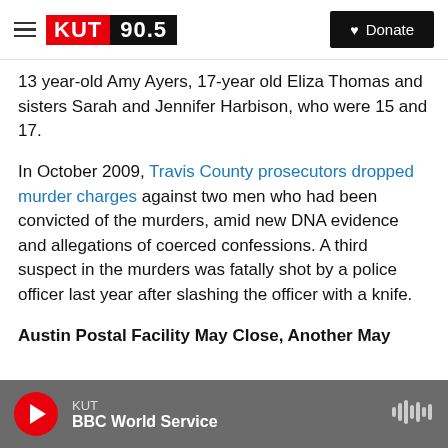KUT 90.5 | Donate
13 year-old Amy Ayers, 17-year old Eliza Thomas and sisters Sarah and Jennifer Harbison, who were 15 and 17.
In October 2009, Travis County prosecutors dropped murder charges against two men who had been convicted of the murders, amid new DNA evidence and allegations of coerced confessions. A third suspect in the murders was fatally shot by a police officer last year after slashing the officer with a knife.
Austin Postal Facility May Close, Another May Expand
KUT | BBC World Service